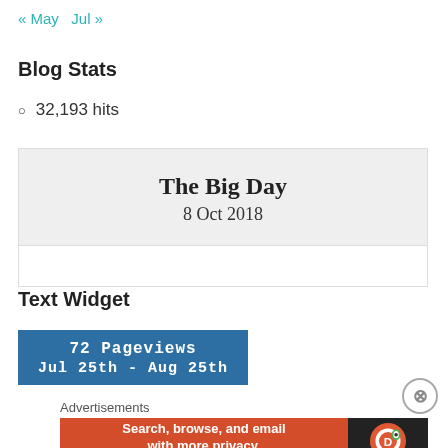« May   Jul »
Blog Stats
32,193 hits
[Figure (other): The Big Day countdown widget showing '8 Oct 2018' on a grey background with a white area below]
Text Widget
[Figure (infographic): Blue banner showing '72 Pageviews / Jul 25th - Aug 25th']
Advertisements
[Figure (other): DuckDuckGo advertisement banner: 'Search, browse, and email with more privacy. All in One Free App' with DuckDuckGo logo on dark background]